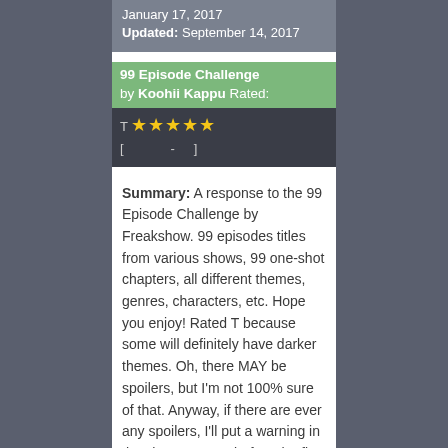January 17, 2017 Updated: September 14, 2017
99 Episode Challenge by Koohii Kappu Rated:
T ★★★★★ [ - ]
Summary: A response to the 99 Episode Challenge by Freakshow. 99 episodes titles from various shows, 99 one-shot chapters, all different themes, genres, characters, etc. Hope you enjoy! Rated T because some will definitely have darker themes. Oh, there MAY be spoilers, but I'm not 100% sure of that. Anyway, if there are ever any spoilers, I'll put a warning in the chapter notes before the fic, so if you're not done with the show PLEASE READ THE CHAPTER NOTES FIRST! Thank you! :)
Categories: Pre-